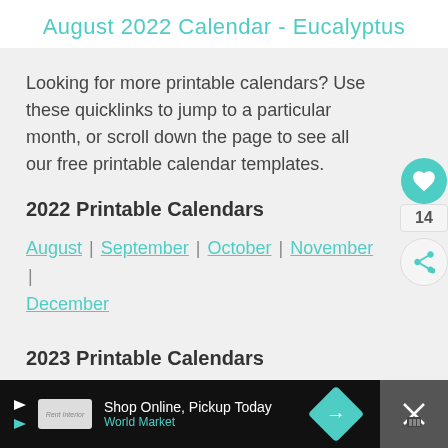August 2022 Calendar - Eucalyptus
Looking for more printable calendars? Use these quicklinks to jump to a particular month, or scroll down the page to see all our free printable calendar templates.
2022 Printable Calendars
August | September | October | November | December
2023 Printable Calendars